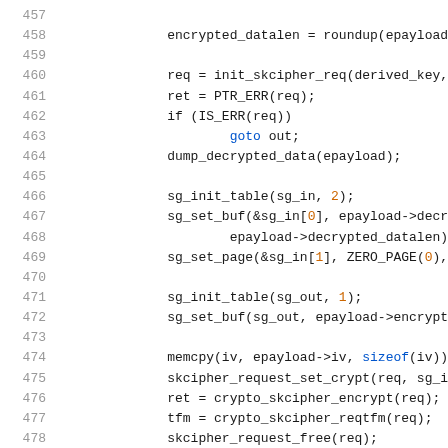Source code listing, lines 457-478, showing C kernel encryption/cipher functions including encrypted_datalen, init_skcipher_req, sg_init_table, sg_set_buf, sg_set_page, memcpy, skcipher_request_set_crypt, crypto_skcipher_encrypt, crypto_skcipher_reqtfm, skcipher_request_free.